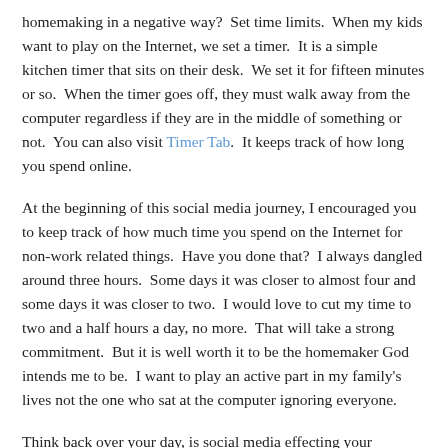homemaking in a negative way?  Set time limits.  When my kids want to play on the Internet, we set a timer.  It is a simple kitchen timer that sits on their desk.  We set it for fifteen minutes or so.  When the timer goes off, they must walk away from the computer regardless if they are in the middle of something or not.  You can also visit Timer Tab.  It keeps track of how long you spend online.
At the beginning of this social media journey, I encouraged you to keep track of how much time you spend on the Internet for non-work related things.  Have you done that?  I always dangled around three hours.  Some days it was closer to almost four and some days it was closer to two.  I would love to cut my time to two and a half hours a day, no more.  That will take a strong commitment.  But it is well worth it to be the homemaker God intends me to be.  I want to play an active part in my family's lives not the one who sat at the computer ignoring everyone.
Think back over your day, is social media effecting your homemaking?  If so, pray about it and make a commitment to your family and your self to spend less time on the computer (or cellphone) and more time caring for your family and home.